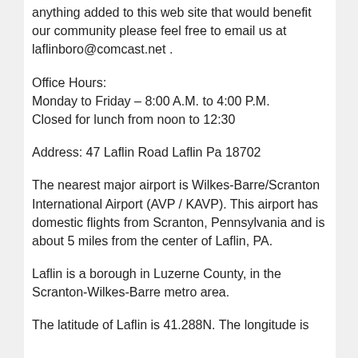anything added to this web site that would benefit our community please feel free to email us at laflinboro@comcast.net .
Office Hours:
Monday to Friday – 8:00 A.M. to 4:00 P.M.
Closed for lunch from noon to 12:30
Address: 47 Laflin Road Laflin Pa 18702
The nearest major airport is Wilkes-Barre/Scranton International Airport (AVP / KAVP). This airport has domestic flights from Scranton, Pennsylvania and is about 5 miles from the center of Laflin, PA.
Laflin is a borough in Luzerne County, in the Scranton-Wilkes-Barre metro area.
The latitude of Laflin is 41.288N. The longitude is